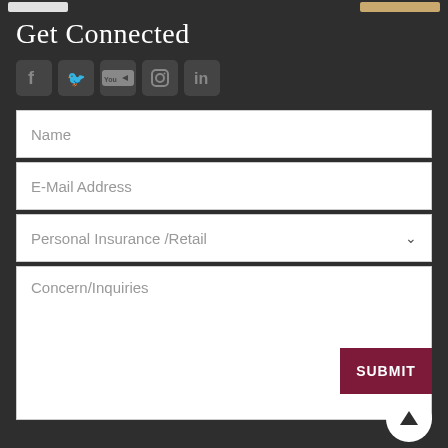Get Connected
[Figure (illustration): Five social media icons in dark gray rounded squares: Facebook, Twitter, YouTube, Instagram, LinkedIn]
Name
E-Mail Address
Personal Insurance /Retail
Concern/Inquiries
SUBMIT